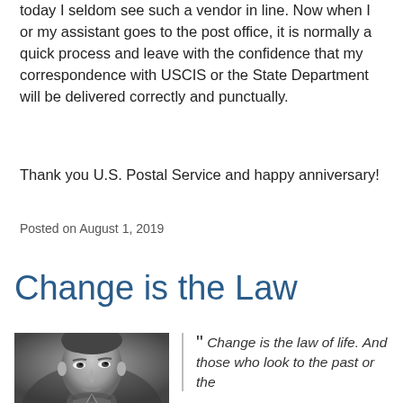today I seldom see such a vendor in line. Now when I or my assistant goes to the post office, it is normally a quick process and leave with the confidence that my correspondence with USCIS or the State Department will be delivered correctly and punctually.
Thank you U.S. Postal Service and happy anniversary!
Posted on August 1, 2019
Change is the Law
[Figure (photo): Black and white portrait photograph of a man, cropped to show head and shoulders, looking upward slightly.]
“ Change is the law of life. And those who look to the past or the